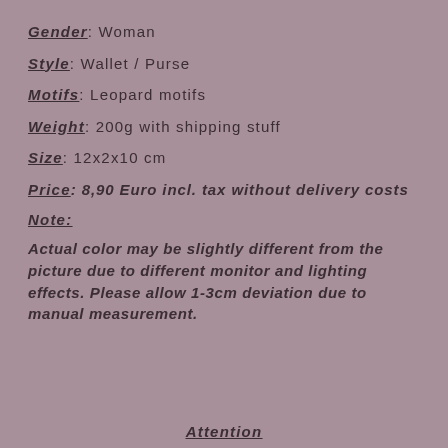Gender: Woman
Style: Wallet / Purse
Motifs: Leopard motifs
Weight: 200g with shipping stuff
Size: 12x2x10 cm
Price: 8,90 Euro incl. tax without delivery costs
Note:
Actual color may be slightly different from the picture due to different monitor and lighting effects. Please allow 1-3cm deviation due to manual measurement.
Attention